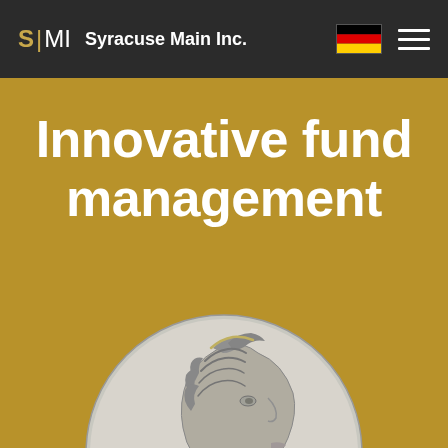S|MI  Syracuse Main Inc.
Innovative fund management
[Figure (illustration): Ancient Greek silver coin showing a female profile portrait (likely Arethusa or Persephone) with flowing wavy hair decorated with ornaments, viewed in profile facing right, rendered in detailed engraving style]